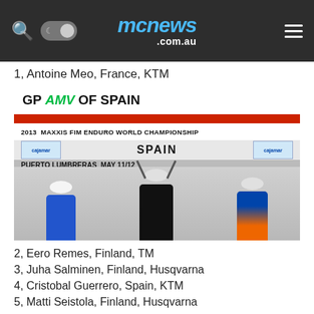mcnews.com.au
1, Antoine Meo, France, KTM
[Figure (photo): Podium photo from 2013 Maxxis FIM Enduro World Championship GP AMV of Spain, Puerto Lumbreras, May 11/12. Three riders on podium with arms raised, winner in black Monster Energy gear flanked by rider in blue Yamaha kit and rider in orange/blue KTM kit.]
2, Eero Remes, Finland, TM
3, Juha Salminen, Finland, Husqvarna
4, Cristobal Guerrero, Spain, KTM
5, Matti Seistola, Finland, Husqvarna